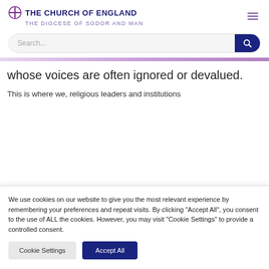THE CHURCH OF ENGLAND THE DIOCESE OF SODOR AND MAN
whose voices are often ignored or devalued.
This is where we, religious leaders and institutions
We use cookies on our website to give you the most relevant experience by remembering your preferences and repeat visits. By clicking "Accept All", you consent to the use of ALL the cookies. However, you may visit "Cookie Settings" to provide a controlled consent.